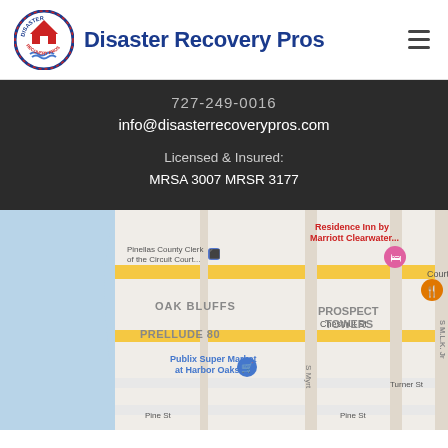[Figure (logo): Disaster Recovery Pros circular logo with house icon in red and blue]
Disaster Recovery Pros
727-249-0016
info@disasterrecoverypros.com
Licensed & Insured:
MRSA 3007 MRSR 3177
[Figure (map): Google Maps screenshot showing Clearwater area with Oak Bluffs, Prellude 80, Prospect Towers, Publix Super Market at Harbor Oaks, Pinellas County Clerk of the Circuit Court, Residence Inn by Marriott Clearwater, Court St, Chestnut St, Turner St, Pine St]